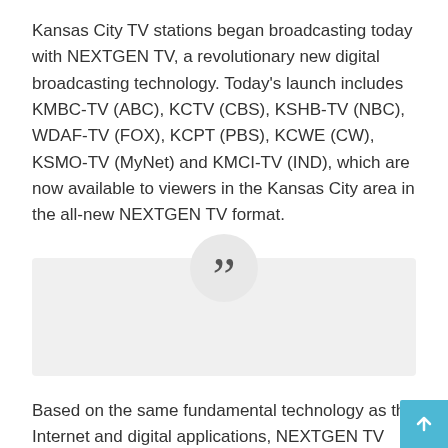Kansas City TV stations began broadcasting today with NEXTGEN TV, a revolutionary new digital broadcasting technology. Today's launch includes KMBC-TV (ABC), KCTV (CBS), KSHB-TV (NBC), WDAF-TV (FOX), KCPT (PBS), KCWE (CW), KSMO-TV (MyNet) and KMCI-TV (IND), which are now available to viewers in the Kansas City area in the all-new NEXTGEN TV format.
[Figure (other): A large closing quotation mark centered in a circle on a light gray rectangular background block.]
Based on the same fundamental technology as the Internet and digital applications, NEXTGEN TV can support a wide range of features currently in development. In addition to providing broadcasters with a new and improved way to reach viewers